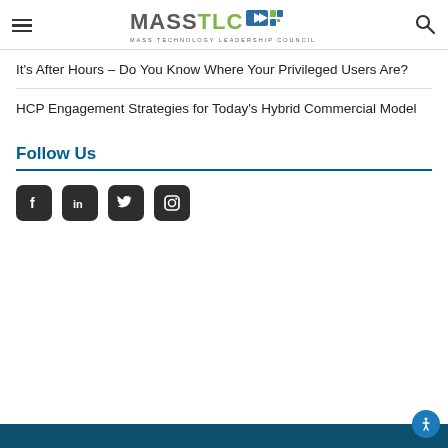MassTLC – Mass Technology Leadership Council
It's After Hours – Do You Know Where Your Privileged Users Are?
HCP Engagement Strategies for Today's Hybrid Commercial Model
Follow Us
[Figure (other): Social media icons: Facebook, LinkedIn, Twitter, Instagram]